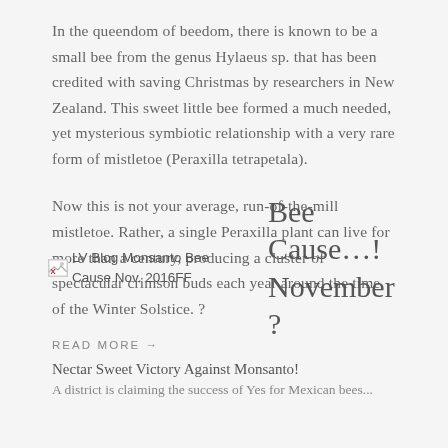In the queendom of beedom, there is known to be a small bee from the genus Hylaeus sp. that has been credited with saving Christmas by researchers in New Zealand. This sweet little bee formed a much needed, yet mysterious symbiotic relationship with a very rare form of mistletoe (Peraxilla tetrapetala).
Now this is not your average, run-of-the-mill mistletoe. Rather, a single Peraxilla plant can live for more than a century, producing a cluster of spectacular crimson buds each year around the time of the Winter Solstice. ?
READ MORE →
[Figure (photo): Broken image placeholder labeled: LV Blog Monsanto Bee Cause Nov. 2016FF]
Bee Cause…! November ?
Nectar Sweet Victory Against Monsanto!
A district is claiming the success of Yes for Mexican bees...